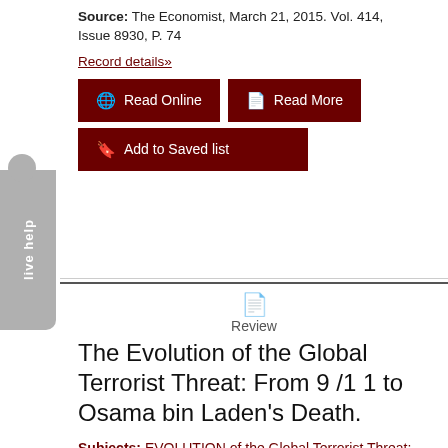Source: The Economist, March 21, 2015. Vol. 414, Issue 8930, P. 74
Record details»
Read Online
Read More
Add to Saved list
live help
Review
The Evolution of the Global Terrorist Threat: From 9 /1 1 to Osama bin Laden's Death.
Subjects: EVOLUTION of the Global Terrorist Threat: From 9/11 to Osama bin Laden's Death, The (Book); HOFFMAN, Bruce; REINARES, FernandoUNITED States